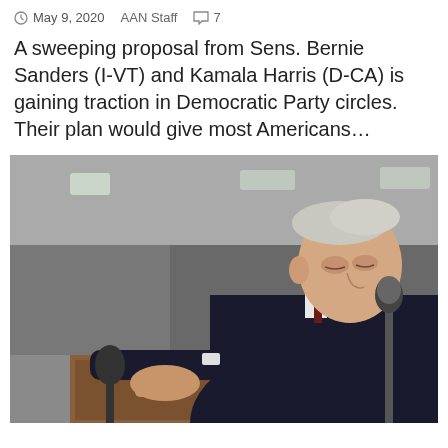May 9, 2020   AAN Staff   7
A sweeping proposal from Sens. Bernie Sanders (I-VT) and Kamala Harris (D-CA) is gaining traction in Democratic Party circles. Their plan would give most Americans…
[Figure (photo): An older man in a dark suit leans over a wooden podium with a microphone, looking downward. The background shows a blurred interior space with ceiling lights.]